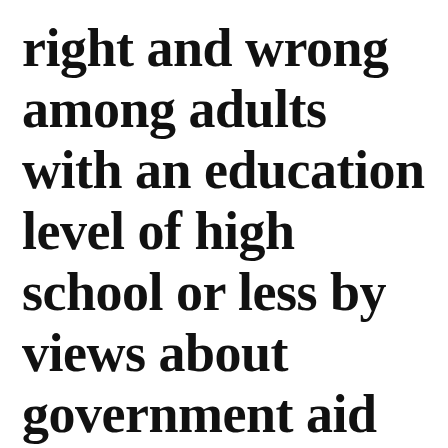right and wrong among adults with an education level of high school or less by views about government aid to the poor